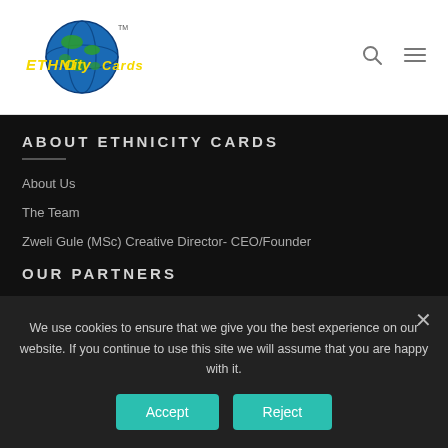Ethnicity Cards logo, search and menu icons
ABOUT ETHNICITY CARDS
About Us
The Team
Zweli Gule (MSc) Creative Director- CEO/Founder
OUR PARTNERS
We use cookies to ensure that we give you the best experience on our website. If you continue to use this site we will assume that you are happy with it.